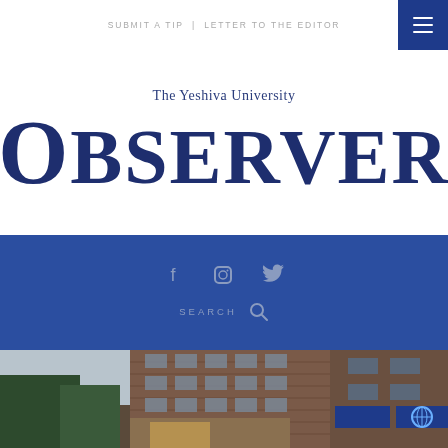SUBMIT A TIP | LETTER TO THE EDITOR
The Yeshiva University Observer
[Figure (screenshot): Blue navigation band with Facebook, Instagram, and Twitter social media icons, and a SEARCH bar with magnifying glass icon]
[Figure (photo): Exterior photo of Yeshiva University campus building — brick building at dusk with blue illuminated signage and globe logo]